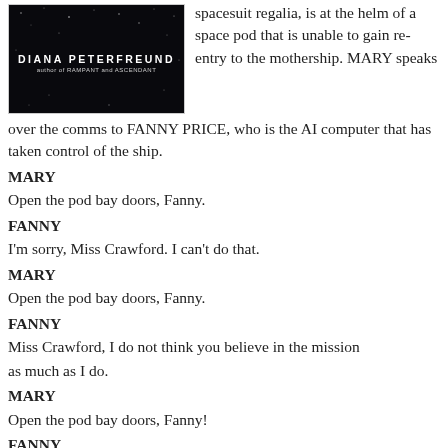[Figure (photo): Book cover with dark starfield background showing author name DIANA PETERFREUND and text 'author of RAMPANT and ASCENDANT']
spacesuit regalia, is at the helm of a space pod that is unable to gain re-entry to the mothership. MARY speaks over the comms to FANNY PRICE, who is the AI computer that has taken control of the ship.
MARY
Open the pod bay doors, Fanny.
FANNY
I'm sorry, Miss Crawford. I can't do that.
MARY
Open the pod bay doors, Fanny.
FANNY
Miss Crawford, I do not think you believe in the mission
as much as I do.
MARY
Open the pod bay doors, Fanny!
FANNY
Edmund will be happier without you.
MARY
Fanny!!